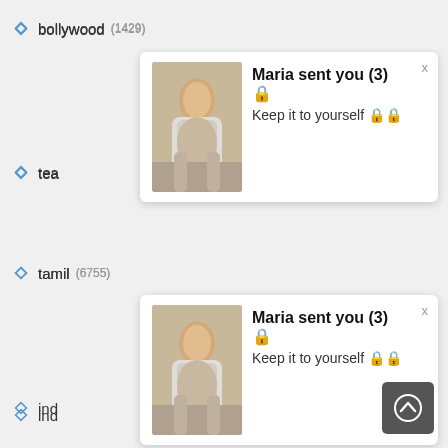bollywood (1429)
tea
[Figure (screenshot): Notification popup: Maria sent you (3) with thumbnail image and text Keep it to yourself]
tamil (6755)
ind
[Figure (screenshot): Second notification popup: Maria sent you (3) with thumbnail image and text Keep it to yourself]
mallu (5240)
hardcore (16447)
webcam (3211)
south (1926)
indians (2254)